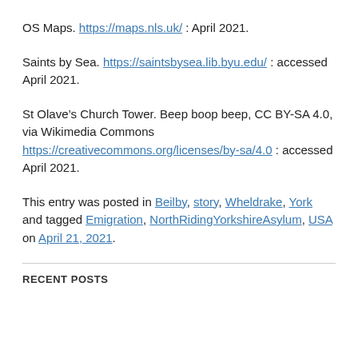OS Maps. https://maps.nls.uk/ : April 2021.
Saints by Sea. https://saintsbysea.lib.byu.edu/ : accessed April 2021.
St Olave’s Church Tower. Beep boop beep, CC BY-SA 4.0, via Wikimedia Commons https://creativecommons.org/licenses/by-sa/4.0 : accessed April 2021.
This entry was posted in Beilby, story, Wheldrake, York and tagged Emigration, NorthRidingYorkshireAsylum, USA on April 21, 2021.
RECENT POSTS